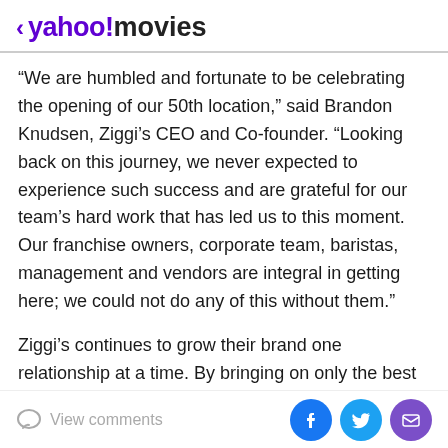< yahoo!movies
“We are humbled and fortunate to be celebrating the opening of our 50th location,” said Brandon Knudsen, Ziggi’s CEO and Co-founder. “Looking back on this journey, we never expected to experience such success and are grateful for our team’s hard work that has led us to this moment. Our franchise owners, corporate team, baristas, management and vendors are integral in getting here; we could not do any of this without them.”
Ziggi’s continues to grow their brand one relationship at a time. By bringing on only the best franchisees, this company cultivates an environment where connection comes first as they provide unparalleled support to every franchise owner.
View comments